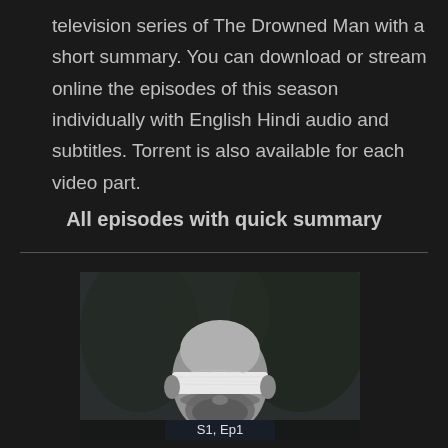television series of The Drowned Man with a short summary. You can download or stream online the episodes of this season individually with English Hindi audio and subtitles. Torrent is also available for each video part.
All episodes with quick summary
[Figure (photo): A bald bearded man with his eyes covered by a white cloth or bandage, set against a dark blurred background. Label reads 'S1, Ep1' at the bottom.]